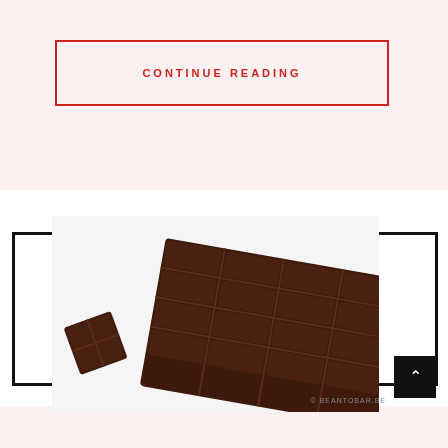CONTINUE READING
[Figure (photo): A dark chocolate bar with a piece broken off, photographed on a white background. Copyright beantobar.be is shown in the lower right of the image.]
© BEANTOBAR.BE